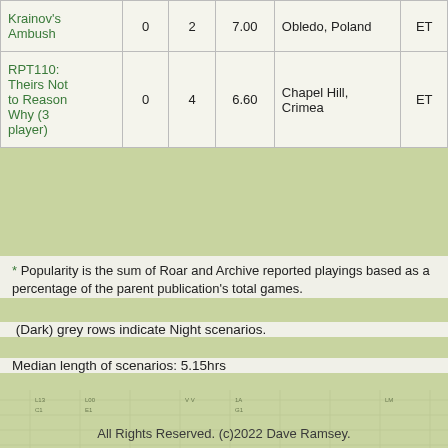| Scenario | Roar | Archive | Rating | Location | Attacker |
| --- | --- | --- | --- | --- | --- |
| Krainov's Ambush | 0 | 2 | 7.00 | Obledo, Poland | ET |
| RPT110: Theirs Not to Reason Why (3 player) | 0 | 4 | 6.60 | Chapel Hill, Crimea | ET |
* Popularity is the sum of Roar and Archive reported playings based as a percentage of the parent publication's total games.
(Dark) grey rows indicate Night scenarios.
Median length of scenarios: 5.15hrs
Average rating of scenarios: 6.71
Total playing time: 57.9hrs
All Rights Reserved. (c)2022 Dave Ramsey.